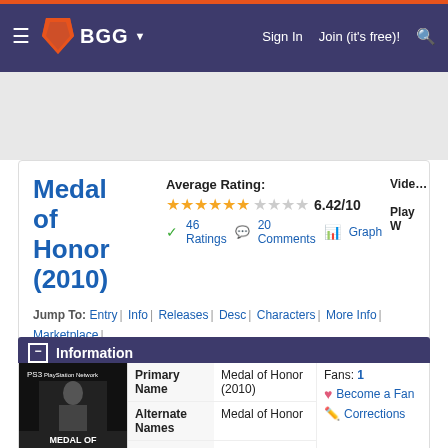BGG — Sign In | Join (it's free)!
Medal of Honor (2010)
Average Rating: 6.42/10 — 46 Ratings | 20 Comments | Graph
Jump To: Entry | Info | Releases | Desc | Characters | More Info | Marketplace | Forum | Linked Forums | Blogs | Files | GeekLists | Stats | Linked Items | Web L
Information
|  | Primary Name | Medal of Honor (2010) |
| --- | --- | --- |
| Alternate Names | Medal of Honor | Fans: 1 — Become a Fan — Corrections |
| Platform | PlayStation |  |